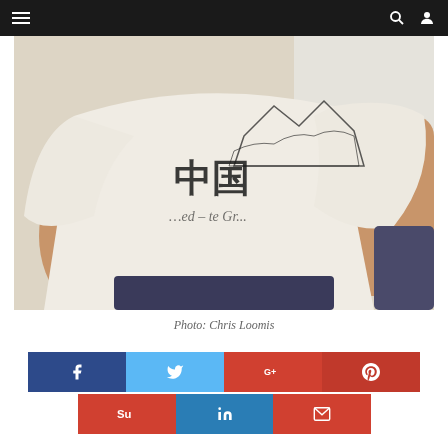Navigation bar with menu, search, and user icons
[Figure (photo): Close-up photo of a person wearing a white t-shirt with Chinese characters and a Great Wall/mountain graphic design, seated, showing torso and arms]
Photo: Chris Loomis
[Figure (infographic): Social media share buttons row 1: Facebook (dark blue), Twitter (light blue), Google+ (red-orange), Pinterest (red)]
[Figure (infographic): Social media share buttons row 2: StumbleUpon (orange-red), LinkedIn (blue), Email (orange-red)]